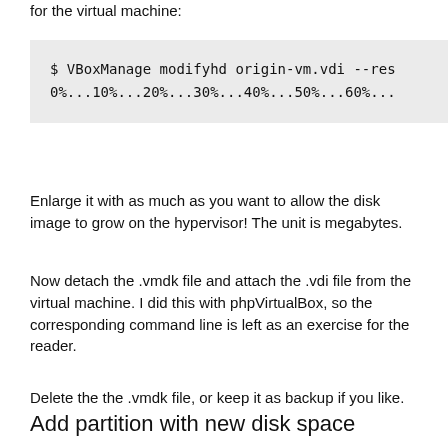for the virtual machine:
$ VBoxManage modifyhd origin-vm.vdi --res
0%...10%...20%...30%...40%...50%...60%...
Enlarge it with as much as you want to allow the disk image to grow on the hypervisor! The unit is megabytes.
Now detach the .vmdk file and attach the .vdi file from the virtual machine. I did this with phpVirtualBox, so the corresponding command line is left as an exercise for the reader.
Delete the the .vmdk file, or keep it as backup if you like.
Add partition with new disk space